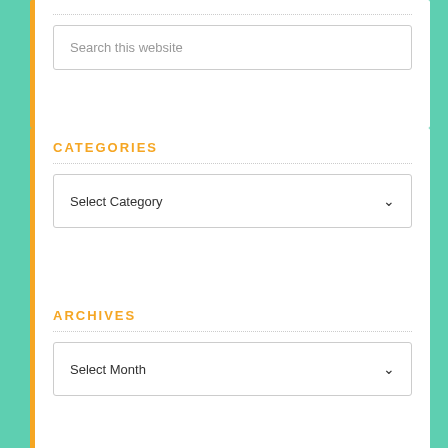LOOKING FOR SOMETHING?
Search this website
CATEGORIES
Select Category
ARCHIVES
Select Month